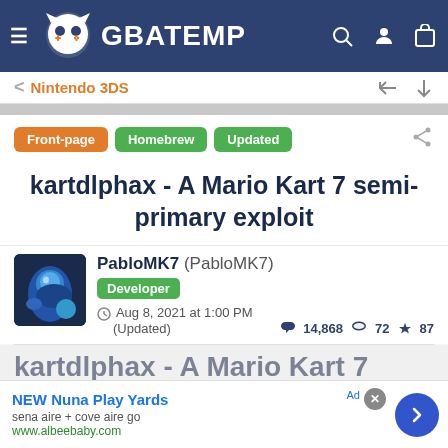GBATEMP
Nintendo 3DS
Front-page  Homebrew  Updated
kartdlphax - A Mario Kart 7 semi-primary exploit
PabloMK7 (PabloMK7)
Developer
Aug 8, 2021 at 1:00 PM (Updated)
14,868  72  87
kartdlphax - A Mario Kart 7
NEW Nuna Play Yards
sena aire + cove aire go
www.albeebaby.com